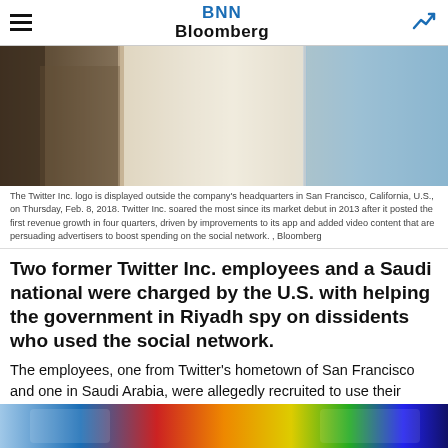BNN Bloomberg
[Figure (photo): Photo of the Twitter Inc. logo displayed outside the company's headquarters in San Francisco, California]
The Twitter Inc. logo is displayed outside the company's headquarters in San Francisco, California, U.S., on Thursday, Feb. 8, 2018. Twitter Inc. soared the most since its market debut in 2013 after it posted the first revenue growth in four quarters, driven by improvements to its app and added video content that are persuading advertisers to boost spending on the social network. , Bloomberg
Two former Twitter Inc. employees and a Saudi national were charged by the U.S. with helping the government in Riyadh spy on dissidents who used the social network.
The employees, one from Twitter's hometown of San Francisco and one in Saudi Arabia, were allegedly recruited to use their company credentials to gain access to the accounts of “users of interest” to the Saudi royal family, according to a criminal complaint unsealed on Wednesday.
[Figure (photo): Advertisement banner at bottom of page]